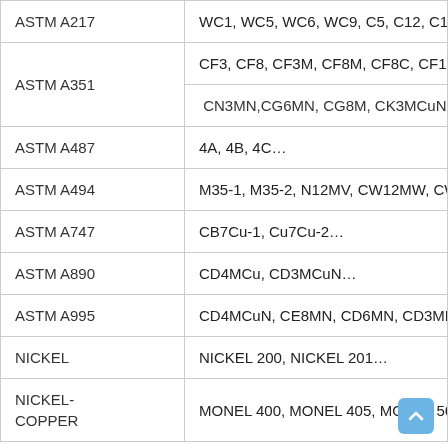| Standard | Grades |
| --- | --- |
| ASTM A217 | WC1, WC5, WC6, WC9, C5, C12, C12A, CA… |
| ASTM A351 | CF3, CF8, CF3M, CF8M, CF8C, CF10,CK20,… |
| ASTM A351 (cont.) | CN3MN,CG6MN, CG8M, CK3MCuN, CG3M… |
| ASTM A487 | 4A, 4B, 4C… |
| ASTM A494 | M35-1, M35-2, N12MV, CW12MW, CW6MC… |
| ASTM A747 | CB7Cu-1, Cu7Cu-2… |
| ASTM A890 | CD4MCu, CD3MCuN… |
| ASTM A995 | CD4MCuN, CE8MN, CD6MN, CD3MN, CE3M… |
| NICKEL | NICKEL 200, NICKEL 201… |
| NICKEL-COPPER | MONEL 400, MONEL 405, MONEL 500… |